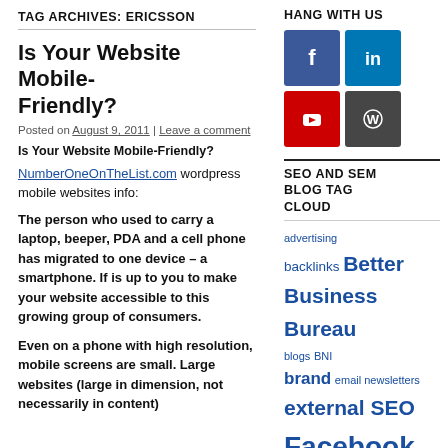TAG ARCHIVES: ERICSSON
Is Your Website Mobile-Friendly?
Posted on August 9, 2011 | Leave a comment
Is Your Website Mobile-Friendly?
NumberOneOnTheList.com wordpress mobile websites info:
The person who used to carry a laptop, beeper, PDA and a cell phone has migrated to one device – a smartphone. If is up to you to make your website accessible to this growing group of consumers.
Even on a phone with high resolution, mobile screens are small. Large websites (large in dimension, not necessarily in content)
HANG WITH US
[Figure (other): Social media icons grid: Facebook (blue), LinkedIn (blue), YouTube (red), WordPress (dark grey)]
SEO AND SEM BLOG TAG CLOUD
advertising backlinks Better Business Bureau blogs BNI brand email newsletters external SEO Facebook free website analysis Google